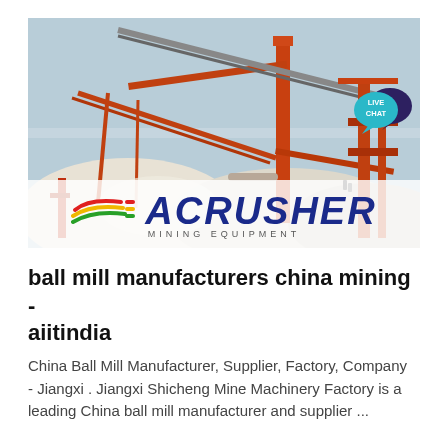[Figure (photo): Mining equipment / conveyor belts and crushers at a quarry or aggregate plant with piles of sand/gravel. ACRUSHER MINING EQUIPMENT logo overlaid at bottom of image.]
ball mill manufacturers china mining - aiitindia
China Ball Mill Manufacturer, Supplier, Factory, Company - Jiangxi . Jiangxi Shicheng Mine Machinery Factory is a leading China ball mill manufacturer and supplier ...